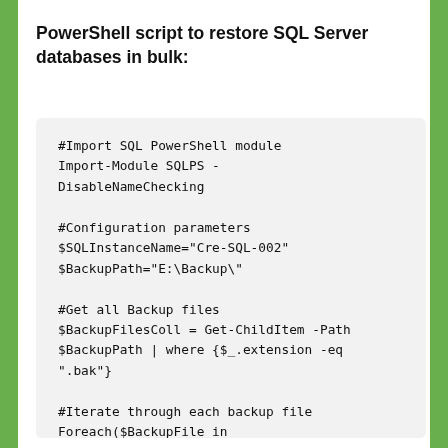PowerShell script to restore SQL Server databases in bulk:
#Import SQL PowerShell module
Import-Module SQLPS -DisableNameChecking

#Configuration parameters
$SQLInstanceName="Cre-SQL-002"
$BackupPath="E:\Backup\"

#Get all Backup files
$BackupFilesColl = Get-ChildItem -Path $BackupPath | where {$_.extension -eq ".bak"}

#Iterate through each backup file
Foreach($BackupFile in $BackupFilesColl)
{